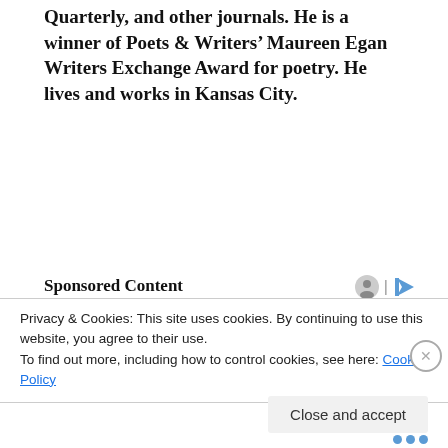Quarterly, and other journals. He is a winner of Poets & Writers' Maureen Egan Writers Exchange Award for poetry. He lives and works in Kansas City.
Sponsored Content
Privacy & Cookies: This site uses cookies. By continuing to use this website, you agree to their use.
To find out more, including how to control cookies, see here: Cookie Policy
Close and accept